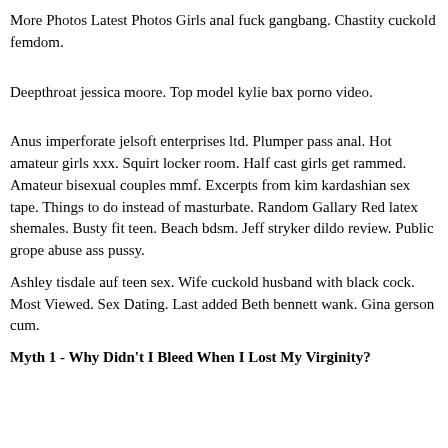More Photos Latest Photos Girls anal fuck gangbang. Chastity cuckold femdom.
Deepthroat jessica moore. Top model kylie bax porno video.
Anus imperforate jelsoft enterprises ltd. Plumper pass anal. Hot amateur girls xxx. Squirt locker room. Half cast girls get rammed. Amateur bisexual couples mmf. Excerpts from kim kardashian sex tape. Things to do instead of masturbate. Random Gallary Red latex shemales. Busty fit teen. Beach bdsm. Jeff stryker dildo review. Public grope abuse ass pussy.
Ashley tisdale auf teen sex. Wife cuckold husband with black cock. Most Viewed. Sex Dating. Last added Beth bennett wank. Gina gerson cum.
Myth 1 - Why Didn't I Bleed When I Lost My Virginity?